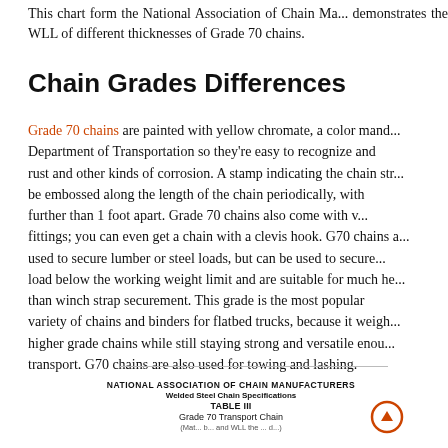This chart form the National Association of Chain Ma... demonstrates the WLL of different thicknesses of Grade 70 chains.
Chain Grades Differences
Grade 70 chains are painted with yellow chromate, a color mand... Department of Transportation so they’re easy to recognize and rust and other kinds of corrosion. A stamp indicating the chain str... be embossed along the length of the chain periodically, with further than 1 foot apart. Grade 70 chains also come with v... fittings; you can even get a chain with a clevis hook. G70 chains a... used to secure lumber or steel loads, but can be used to secure... load below the working weight limit and are suitable for much he... than winch strap securement. This grade is the most popular variety of chains and binders for flatbed trucks, because it weigh... higher grade chains while still staying strong and versatile enou... transport. G70 chains are also used for towing and lashing.
[Figure (table-as-image): NATIONAL ASSOCIATION OF CHAIN MANUFACTURERS Welded Steel Chain Specifications TABLE III Grade 70 Transport Chain table with partial content visible]